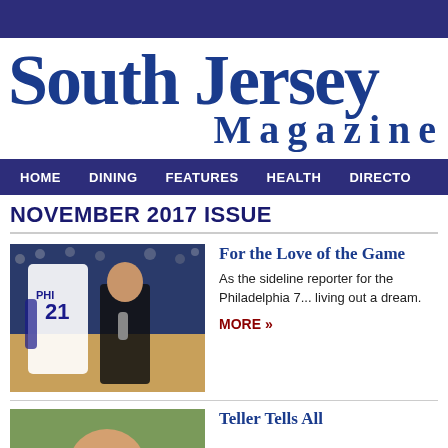South Jersey Magazine
HOME  DINING  FEATURES  HEALTH  DIRECTO
NOVEMBER 2017 ISSUE
[Figure (photo): Basketball player wearing number 21 with 'PHI' jersey being interviewed by a female reporter with a microphone at a Philadelphia 76ers game]
For the Love of the Game
As the sideline reporter for the Philadelphia 7... living out a dream.
MORE »
[Figure (photo): Person photographed outdoors, partial view at bottom of page]
Teller Tells All